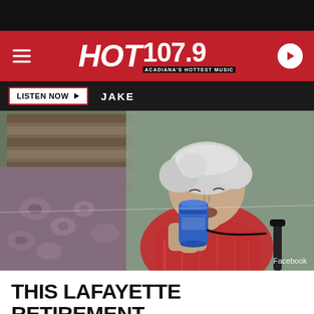[Figure (screenshot): HOT 107.9 radio station website header with red background, hamburger menu on left, HOT 107.9 logo in center, play button on right]
[Figure (photo): Elderly woman with white hair drinking from a blue can, wearing a red shirt, seated near a floral couch. Facebook watermark in bottom right.]
THIS LAFAYETTE RETIREMENT